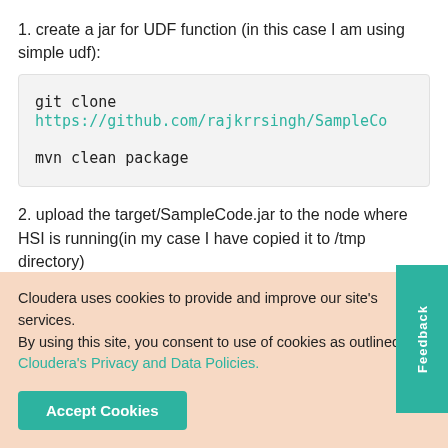1. create a jar for UDF function (in this case I am using simple udf):
git clone https://github.com/rajkrrsingh/SampleCo

mvn clean package
2. upload the target/SampleCode.jar to the node where HSI is running(in my case I have copied it to /tmp directory)
3. add jar to hive_aux_jars (goto Ambari--> hive --> confi
Cloudera uses cookies to provide and improve our site's services. By using this site, you consent to use of cookies as outlined in Cloudera's Privacy and Data Policies.
Accept Cookies